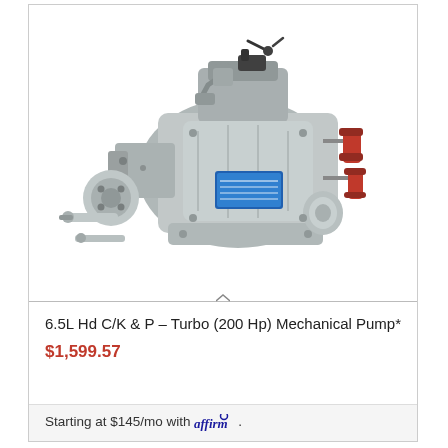[Figure (photo): A diesel injection pump for a 6.5L Hd C/K & P Turbo (200 Hp), shown in metallic silver with red fittings and a blue label, photographed on white background.]
6.5L Hd C/K & P – Turbo (200 Hp) Mechanical Pump*
$1,599.57
Starting at $145/mo with affirm.